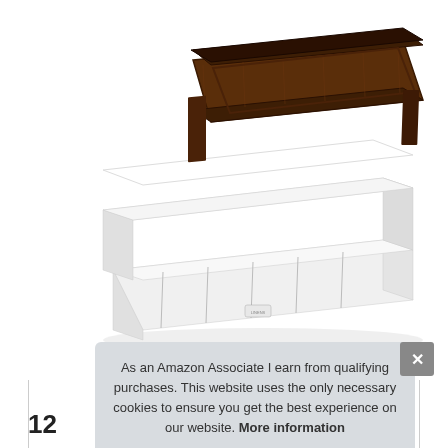[Figure (photo): Product photo of a bed with a dark walnut wood headboard, white mattress, and white pleated bed skirt, shown on a white background.]
As an Amazon Associate I earn from qualifying purchases. This website uses the only necessary cookies to ensure you get the best experience on our website. More information
12
Skirt Split Corner Pleated Style Easy Fit...